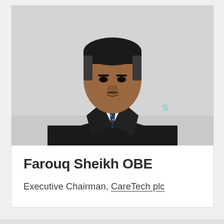[Figure (photo): Professional portrait photograph of Farouq Sheikh OBE, a man in a dark suit with a dark patterned tie, against a light grey background, shown from the waist up.]
Farouq Sheikh OBE
Executive Chairman, CareTech plc